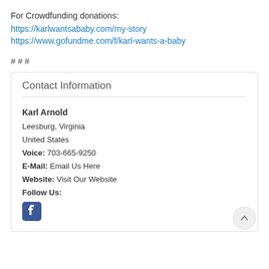For Crowdfunding donations:
https://karlwantsababy.com/my-story
https://www.gofundme.com/f/karl-wants-a-baby
# # #
Contact Information
Karl Arnold
Leesburg, Virginia
United States
Voice: 703-665-9250
E-Mail: Email Us Here
Website: Visit Our Website
Follow Us: